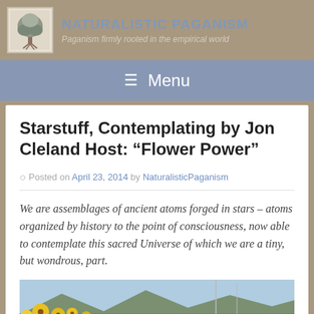NATURALISTIC PAGANISM – Paganism firmly rooted in the empirical world
Menu
Starstuff, Contemplating by Jon Cleland Host: “Flower Power”
Posted on April 23, 2014 by NaturalisticPaganism
We are assemblages of ancient atoms forged in stars – atoms organized by history to the point of consciousness, now able to contemplate this sacred Universe of which we are a tiny, but wondrous, part.
[Figure (photo): Photo of yellow flowers (sunflowers) in the foreground with mountains and blue sky in the background]